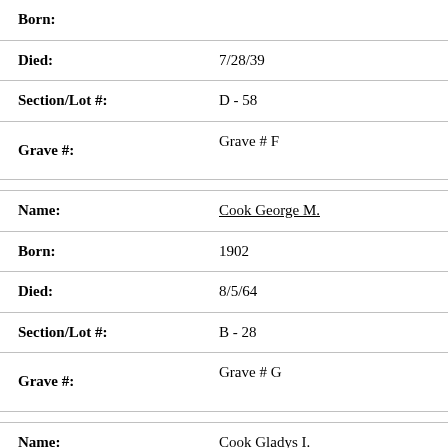Born:
Died: 7/28/39
Section/Lot #: D - 58
Grave #: Grave # F
Name: Cook George M.
Born: 1902
Died: 8/5/64
Section/Lot #: B - 28
Grave #: Grave # G
Name: Cook Gladys I.